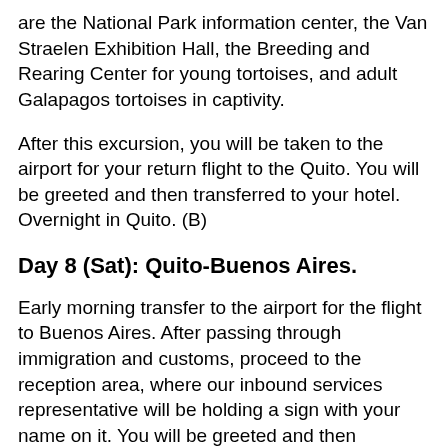are the National Park information center, the Van Straelen Exhibition Hall, the Breeding and Rearing Center for young tortoises, and adult Galapagos tortoises in captivity.
After this excursion, you will be taken to the airport for your return flight to the Quito. You will be greeted and then transferred to your hotel. Overnight in Quito. (B)
Day 8 (Sat): Quito-Buenos Aires.
Early morning transfer to the airport for the flight to Buenos Aires. After passing through immigration and customs, proceed to the reception area, where our inbound services representative will be holding a sign with your name on it. You will be greeted and then transferred to your hotel. Overnight in Buenos Aires. (B)